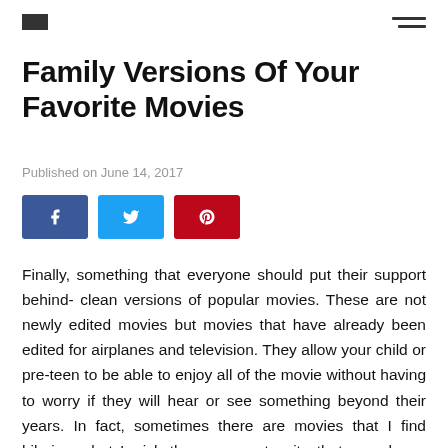[logo] [hamburger menu]
Family Versions Of Your Favorite Movies
Published on June 14, 2017
[Figure (infographic): Social sharing buttons: Facebook (blue), Twitter (light blue), Pinterest (red)]
Finally, something that everyone should put their support behind- clean versions of popular movies. These are not newly edited movies but movies that have already been edited for airplanes and television. They allow your child or pre-teen to be able to enjoy all of the movie without having to worry if they will hear or see something beyond their years. In fact, sometimes there are movies that I find hilarious, but I wish they were not quite that raunchy or gross. Sony is doing just that across certain digital outlets by offering the clean